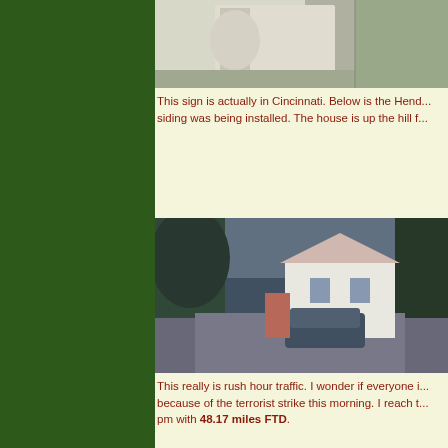[Figure (photo): Partial photo of a person in a light-colored shirt, with a road and trees visible in the background]
This sign is actually in Cincinnati. Below is the Hend... siding was being installed. The house is up the hill f...
[Figure (photo): Photo of a white house with a dark car parked in front on a gravel driveway, surrounded by trees]
This really is rush hour traffic. I wonder if everyone i... because of the terrorist strike this morning. I reach t... pm with 48.17 miles FTD.
Ahead of me, Route 276 disappears into the Pisgah... grades to the Blue Ridge Parkway. The car traffic di... Asheville. The road ahead is one of the more difficu... grades of 7% or so, but never delivers torture incline... good thing about climbing in the mountain is that i...